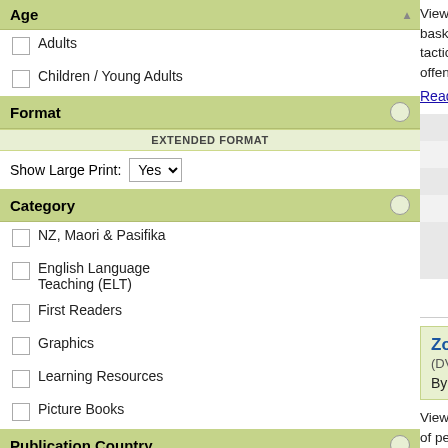Age
Adults
Children / Young Adults
Format
EXTENDED FORMAT
Show Large Print: Yes
Category
NZ, Maori & Pasifika
English Language Teaching (ELT)
First Readers
Graphics
Learning Resources
Picture Books
Publication Country
Latest Additions
Last 7 days
Last 14 days
Viewing Man-to-Man Offe... basketball clinics with ma... tactical genius on these t... offense-Delaware offense...
Read more
| Field | Value |
| --- | --- |
| ISBN | 97807... |
| Released NZ | 15 Apr... |
| Publisher | Humar... |
| Interest Age | 18+ ye... |
| Availability | Showir... usually... days |
View details for this t...
Zone Offense & D...
(DVD-ROM / Other)
By Wootten, Morgan
Viewing Zone Offense & ... of personal basketball cli... Wootten's tactical genius...